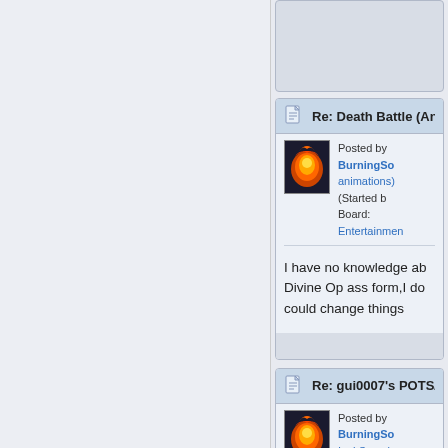Re: Death Battle (And s
Posted by BurningSo animations) (Started b Board: Entertainmen
I have no knowledge ab Divine Op ass form,I do could change things
Re: gui0007's POTS/PO
Posted by BurningSo Ice! Scorpion + Sub-Ze ago Board: Edits & Addons 1.0